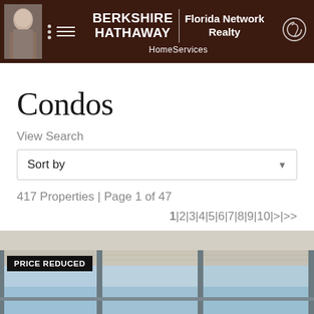[Figure (logo): Berkshire Hathaway HomeServices Florida Network Realty header banner with agent photo, menu icon, logo text, and profile icon]
Condos
View Search
Sort by
417 Properties | Page 1 of 47
1|2|3|4|5|6|7|8|9|10|>|>>
[Figure (photo): Interior condo photo showing large windows with ocean view, with a PRICE REDUCED badge overlay in the top left corner]